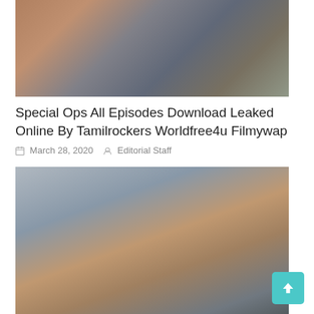[Figure (photo): Movie poster thumbnail for Special Ops showing multiple cast members]
Special Ops All Episodes Download Leaked Online By Tamilrockers Worldfree4u Filmywap
March 28, 2020  Editorial Staff
[Figure (photo): Movie poster thumbnail for Iruttu showing a police officer in uniform against a dark misty background with trees and a dog]
Iruttu HD Full Movie Download Leaked Online By Tamilrockers & Isaimini